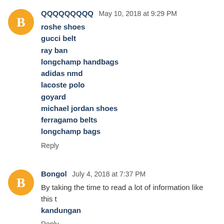QQQQQQQQQ May 10, 2018 at 9:29 PM
roshe shoes
gucci belt
ray ban
longchamp handbags
adidas nmd
lacoste polo
goyard
michael jordan shoes
ferragamo belts
longchamp bags
Reply
Bongol July 4, 2018 at 7:37 PM
By taking the time to read a lot of information like this to kandungan
Reply
May 10, 2018 at 1:22 AM